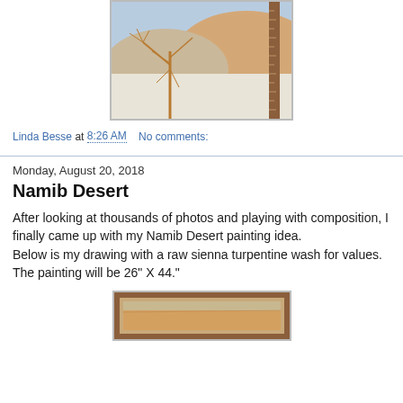[Figure (photo): A painting of a desert/snowy landscape with bare trees and sandy hills, displayed in a wooden frame]
Linda Besse at 8:26 AM    No comments:
Monday, August 20, 2018
Namib Desert
After looking at thousands of photos and playing with composition, I finally came up with my Namib Desert painting idea.
Below is my drawing with a raw sienna turpentine wash for values. The painting will be 26" X 44."
[Figure (photo): A painting sketch with raw sienna turpentine wash showing landscape values, in a frame]